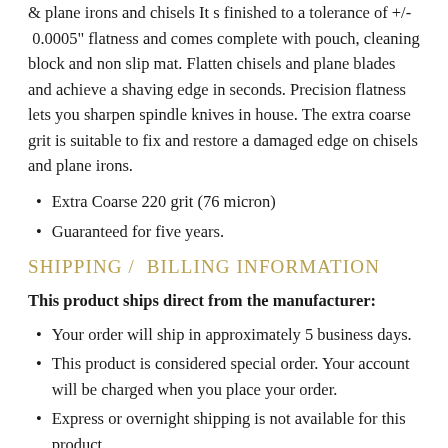& plane irons and chisels It s finished to a tolerance of +/- 0.0005" flatness and comes complete with pouch, cleaning block and non slip mat. Flatten chisels and plane blades and achieve a shaving edge in seconds. Precision flatness lets you sharpen spindle knives in house. The extra coarse grit is suitable to fix and restore a damaged edge on chisels and plane irons.
Extra Coarse 220 grit (76 micron)
Guaranteed for five years.
SHIPPING / BILLING INFORMATION
This product ships direct from the manufacturer:
Your order will ship in approximately 5 business days.
This product is considered special order. Your account will be charged when you place your order.
Express or overnight shipping is not available for this product.
Ships by Ground to the 48 contiguous states. Cannot ship to Alaska, Hawaii, PO Boxes, APOs, US Territories,